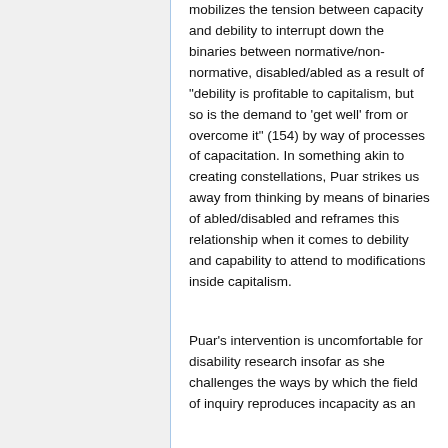mobilizes the tension between capacity and debility to interrupt down the binaries between normative/non-normative, disabled/abled as a result of "debility is profitable to capitalism, but so is the demand to 'get well' from or overcome it" (154) by way of processes of capacitation. In something akin to creating constellations, Puar strikes us away from thinking by means of binaries of abled/disabled and reframes this relationship when it comes to debility and capability to attend to modifications inside capitalism.
Puar's intervention is uncomfortable for disability research insofar as she challenges the ways by which the field of inquiry reproduces incapacity as an